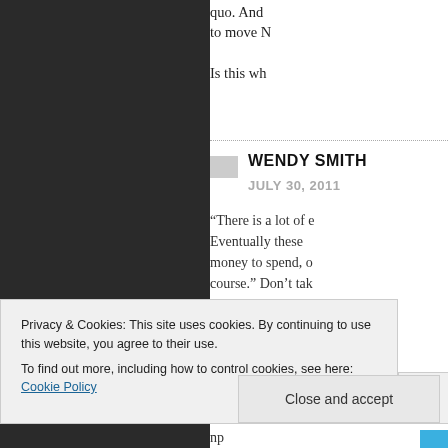quo. And to move N
Is this wh
WENDY SMITH
JULY 30, 2011
“There is a lot of e Eventually these money to spend, o course.” Don’t tak people have enou “the basics”. Many active on this blog
“We need more b ne np (si
Privacy & Cookies: This site uses cookies. By continuing to use this website, you agree to their use.
To find out more, including how to control cookies, see here: Cookie Policy
Close and accept